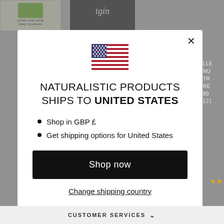[Figure (screenshot): E-commerce website background showing product images (hair conditioner, tgin bottle, another product) partially visible behind a modal overlay]
[Figure (illustration): United States flag emoji/icon displayed centered in the modal dialog]
NATURALISTIC PRODUCTS SHIPS TO UNITED STATES
Shop in GBP £
Get shipping options for United States
Shop now
Change shipping country
CUSTOMER SERVICES